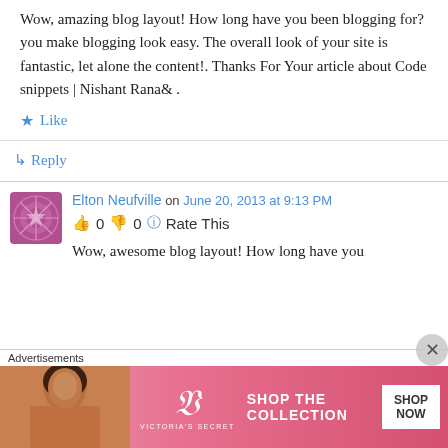Wow, amazing blog layout! How long have you been blogging for? you make blogging look easy. The overall look of your site is fantastic, let alone the content!. Thanks For Your article about Code snippets | Nishant Rana& .
Like
Reply
Elton Neufville on June 20, 2013 at 9:13 PM
0  0  Rate This
Wow, awesome blog layout! How long have you
Advertisements